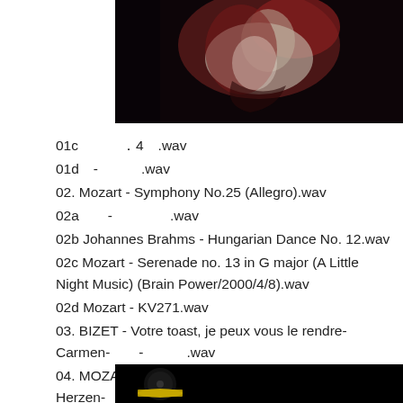[Figure (photo): Classical painting showing a woman in red and white robes, possibly a religious figure, with dark background]
01c　　　．4　.wav
01d　-　　　.wav
02. Mozart - Symphony No.25 (Allegro).wav
02a　　-　　　　.wav
02b Johannes Brahms - Hungarian Dance No. 12.wav
02c Mozart - Serenade no. 13 in G major (A Little Night Music)  (Brain Power/2000/4/8).wav
02d Mozart - KV271.wav
03. BIZET - Votre toast, je peux vous le rendre-Carmen-　　-　　　.wav
04. MOZART - Der Holle Rache Kocht in meinem Herzen-　-　　　　　.wav
(□□□)
[Figure (photo): Partial view of a dark background with a record label visible, likely a Deutsche Grammophon classical music record]